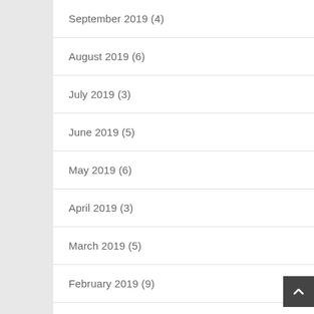September 2019 (4)
August 2019 (6)
July 2019 (3)
June 2019 (5)
May 2019 (6)
April 2019 (3)
March 2019 (5)
February 2019 (9)
January 2019 (2)